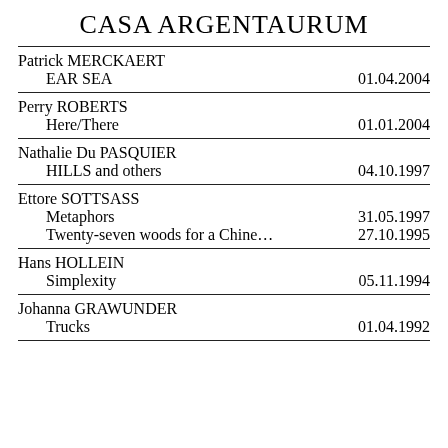CASA ARGENTAURUM
| Artist / Work | Date |
| --- | --- |
| Patrick MERCKAERT |  |
| EAR SEA | 01.04.2004 |
| Perry ROBERTS |  |
| Here/There | 01.01.2004 |
| Nathalie Du PASQUIER |  |
| HILLS and others | 04.10.1997 |
| Ettore SOTTSASS |  |
| Metaphors | 31.05.1997 |
| Twenty-seven woods for a Chine... | 27.10.1995 |
| Hans HOLLEIN |  |
| Simplexity | 05.11.1994 |
| Johanna GRAWUNDER |  |
| Trucks | 01.04.1992 |